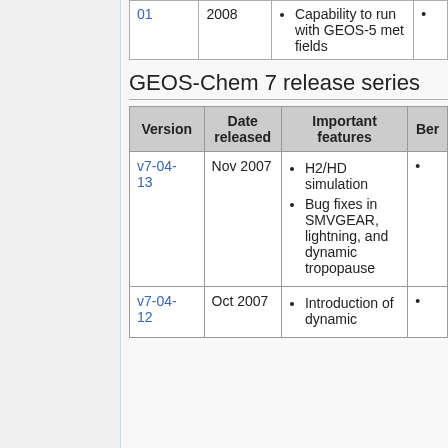| Version | Date released | Important features | Ber... |
| --- | --- | --- | --- |
| 01 | 2008 | • Capability to run with GEOS-5 met fields | • |
GEOS-Chem 7 release series
| Version | Date released | Important features | Ben... |
| --- | --- | --- | --- |
| v7-04-13 | Nov 2007 | • H2/HD simulation
• Bug fixes in SMVGEAR, lightning, and dynamic tropopause | • |
| v7-04-12 | Oct 2007 | • Introduction of dynamic... | • |